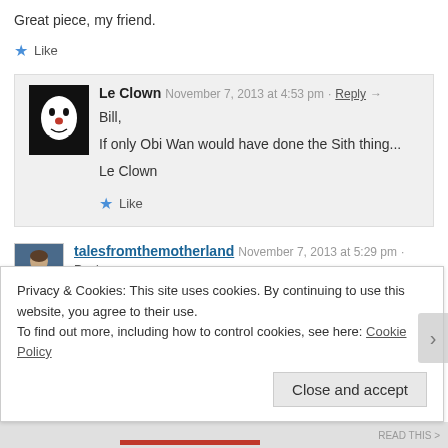Great piece, my friend.
★ Like
Le Clown  November 7, 2013 at 4:53 pm · Reply →
Bill,
If only Obi Wan would have done the Sith thing...
Le Clown
★ Like
talesfromthemotherland  November 7, 2013 at 5:29 pm · Reply →
Piggybacking on yesterday, this is a truly authentic, and movingly real pice of writing. There are so many sides of Le Clown that interest me,
Privacy & Cookies: This site uses cookies. By continuing to use this website, you agree to their use.
To find out more, including how to control cookies, see here: Cookie Policy
Close and accept